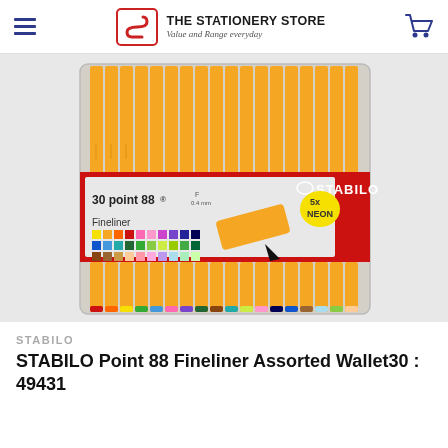THE STATIONERY STORE — Value and Range everyday
[Figure (photo): STABILO Point 88 Fineliner Assorted Wallet 30 (product code 49431) — a clear plastic wallet containing 30 orange-barrelled fineliner pens arranged in rows. The packaging label shows: '30 point 88® Fineliner, F 0.4mm, 5x NEON' with the STABILO logo, a colour swatch grid of 30 colours, and a close-up of the pen tip.]
STABILO
STABILO Point 88 Fineliner Assorted Wallet30 : 49431